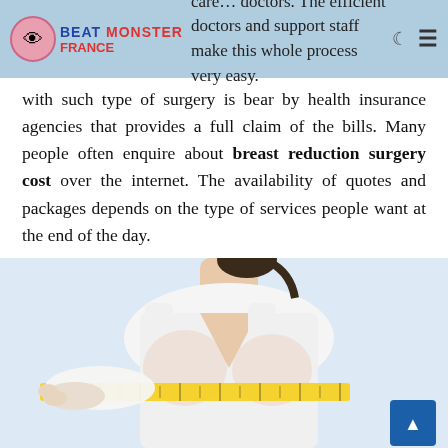BEAT MONSTER FRANCE [logo] — care ... doctors. The efficient doctors and support staff make this whole process very easy.
with such type of surgery is bear by health insurance agencies that provides a full claim of the bills. Many people often enquire about breast reduction surgery cost over the internet. The availability of quotes and packages depends on the type of services people want at the end of the day.
[Figure (photo): A woman in a white sleeveless top being measured around the chest with a yellow tape measure by a person in a white coat — illustrating breast measurement or surgery consultation.]